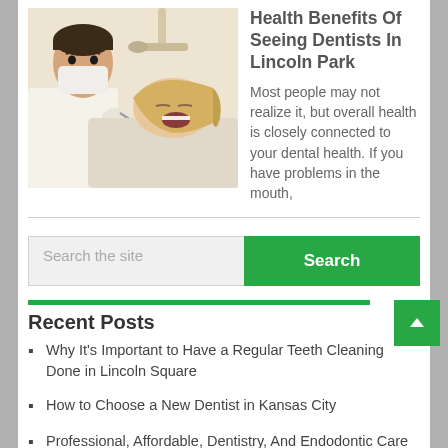[Figure (photo): A dentist in white coat and mask examining a female patient's teeth with dental tools]
Health Benefits Of Seeing Dentists In Lincoln Park
Most people may not realize it, but overall health is closely connected to your dental health. If you have problems in the mouth,
Search the site
Search
Recent Posts
Why It's Important to Have a Regular Teeth Cleaning Done in Lincoln Square
How to Choose a New Dentist in Kansas City
Professional, Affordable, Dentistry, And Endodontic Care in Lakeview
Reasons to Schedule a Dental Clinic Appointment in Philadelphia